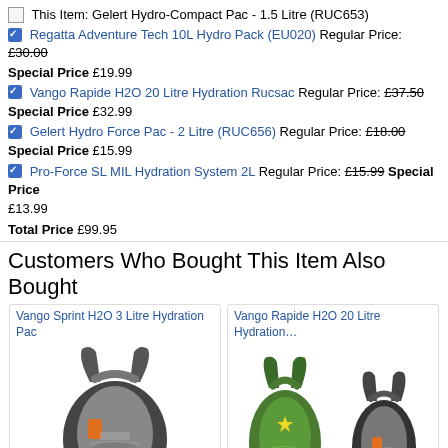This Item: Gelert Hydro-Compact Pac - 1.5 Litre (RUC653)
Regatta Adventure Tech 10L Hydro Pack (EU020) Regular Price: £30.00 Special Price £19.99
Vango Rapide H2O 20 Litre Hydration Rucsac Regular Price: £37.50 Special Price £32.99
Gelert Hydro Force Pac - 2 Litre (RUC656) Regular Price: £18.00 Special Price £15.99
Pro-Force SL MIL Hydration System 2L Regular Price: £15.99 Special Price £13.99
Total Price £99.95
Customers Who Bought This Item Also Bought
[Figure (photo): Vango Sprint H2O 3 Litre Hydration Pac - black/grey backpack product image]
[Figure (photo): Vango Rapide H2O 20 Litre Hydration - green and black/grey backpack product images]